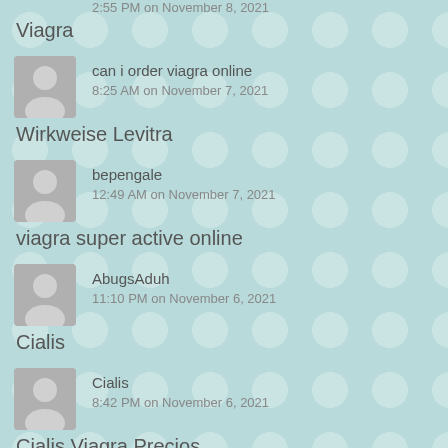2:55 PM on November 8, 2021
Viagra
can i order viagra online
8:25 AM on November 7, 2021
Wirkweise Levitra
bepengale
12:49 AM on November 7, 2021
viagra super active online
AbugsAduh
11:10 PM on November 6, 2021
Cialis
Cialis
8:42 PM on November 6, 2021
Cialis Viagra Precios
Tahbraway